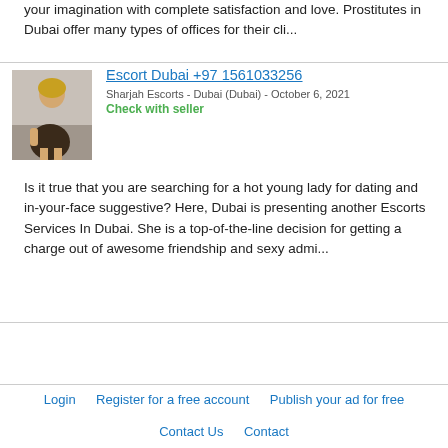your imagination with complete satisfaction and love. Prostitutes in Dubai offer many types of offices for their cli...
[Figure (photo): Photo of a woman posing in a chair]
Escort Dubai +97 1561033256
Sharjah Escorts - Dubai (Dubai) - October 6, 2021
Check with seller
Is it true that you are searching for a hot young lady for dating and in-your-face suggestive? Here, Dubai is presenting another Escorts Services In Dubai. She is a top-of-the-line decision for getting a charge out of awesome friendship and sexy admi...
Login   Register for a free account   Publish your ad for free   Contact Us   Contact